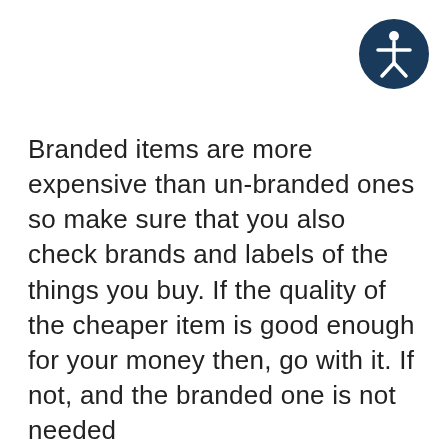[Figure (logo): Accessibility icon: white stick figure person inside a dark navy blue circle, representing accessibility features]
Branded items are more expensive than un-branded ones so make sure that you also check brands and labels of the things you buy. If the quality of the cheaper item is good enough for your money then, go with it. If not, and the branded one is not needed